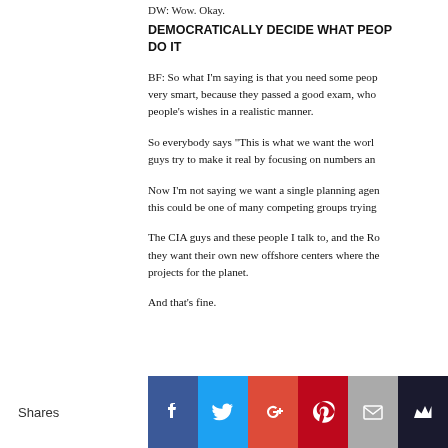DW: Wow. Okay.
DEMOCRATICALLY DECIDE WHAT PEOPLE... DO IT
BF: So what I’m saying is that you need some people who are very smart, because they passed a good exam, who can implement people’s wishes in a realistic manner.
So everybody says “This is what we want the world...” and these guys try to make it real by focusing on numbers and...
Now I’m not saying we want a single planning agency... this could be one of many competing groups trying...
The CIA guys and these people I talk to, and the Ro... they want their own new offshore centers where the... projects for the planet.
And that’s fine.